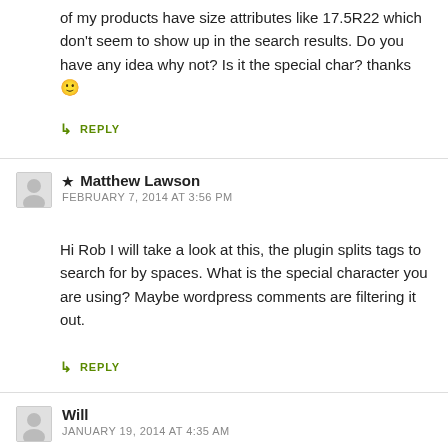of my products have size attributes like 17.5R22 which don't seem to show up in the search results. Do you have any idea why not? Is it the special char? thanks 🙂
↳ REPLY
★ Matthew Lawson
FEBRUARY 7, 2014 AT 3:56 PM
Hi Rob I will take a look at this, the plugin splits tags to search for by spaces. What is the special character you are using? Maybe wordpress comments are filtering it out.
↳ REPLY
Will
JANUARY 19, 2014 AT 4:35 AM